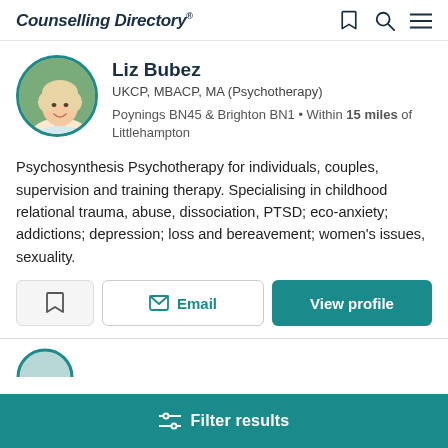Counselling Directory
Liz Bubez
UKCP, MBACP, MA (Psychotherapy)
Poynings BN45 & Brighton BN1 • Within 15 miles of Littlehampton
Psychosynthesis Psychotherapy for individuals, couples, supervision and training therapy. Specialising in childhood relational trauma, abuse, dissociation, PTSD; eco-anxiety; addictions; depression; loss and bereavement; women's issues, sexuality.
Filter results